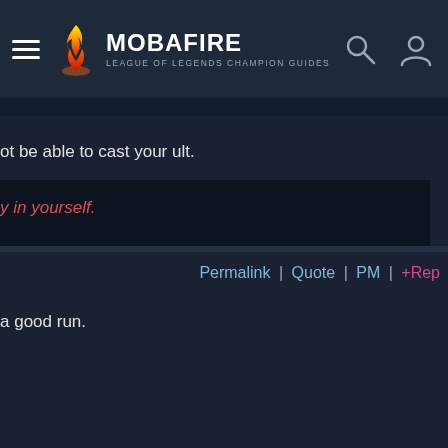MOBAFIRE — LEAGUE OF LEGENDS CHAMPION GUIDES
ot be able to cast your ult.
y in yourself.
Permalink | Quote | PM | +Rep
a good run.